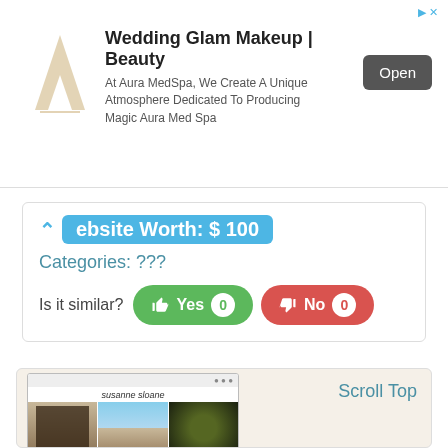[Figure (screenshot): Advertisement banner for Aura MedSpa / Wedding Glam Makeup Beauty with logo, text, and Open button]
Website Worth: $ 100
Categories: ???
Is it similar?  Yes 0  No 0
[Figure (screenshot): Preview screenshot of a photography website (susanne sloane) showing three photos and Scroll Top label, with Siteprice.org watermark]